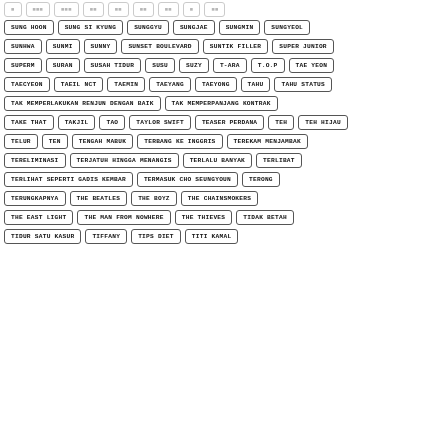SUNG HOON
SUNG SI KYUNG
SUNGGYU
SUNGJAE
SUNGMIN
SUNGYEOL
SUNHWA
SUNMI
SUNNY
SUNSET BOULEVARD
SUNTIK FILLER
SUPER JUNIOR
SUPERM
SURAN
SUSAH TIDUR
SUSU
SUZY
T-ARA
T.O.P
TAE YEON
TAECYEON
TAEIL NCT
TAEMIN
TAEYANG
TAEYONG
TAHU
TAHU STATUS
TAK MEMPERLAKUKAN RENJUN DENGAN BAIK
TAK MEMPERPANJANG KONTRAK
TAKE THAT
TAKJIL
TAO
TAYLOR SWIFT
TEASER PERDANA
TEH
TEH HIJAU
TELUR
TEN
TENGAH MABUK
TERBANG KE INGGRIS
TEREKAM MENJAMBAK
TERELIMINASI
TERJATUH HINGGA MENANGIS
TERLALU BANYAK
TERLIBAT
TERLIHAT SEPERTI GADIS KEMBAR
TERMASUK CHO SEUNGYOUN
TERONG
TERUNGKAPNYA
THE BEATLES
THE BOYZ
THE CHAINSMOKERS
THE EAST LIGHT
THE MAN FROM NOWHERE
THE THIEVES
TIDAK BETAH
TIDUR SATU KASUR
TIFFANY
TIPS DIET
TITI KAMAL